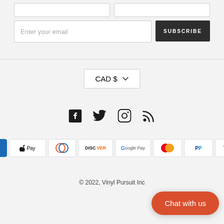[Figure (screenshot): Email subscription form with input fields and a SUBSCRIBE button]
[Figure (screenshot): Currency selector showing CAD $ with dropdown chevron]
[Figure (infographic): Social media icons: Facebook, Twitter, Instagram, RSS]
[Figure (infographic): Payment method icons: Amex, Apple Pay, Diners Club, Discover, Google Pay, Mastercard, PayPal, Visa]
© 2022, Vinyl Pursuit Inc
[Figure (screenshot): Chat with us button (orange/red rounded button, bottom right)]